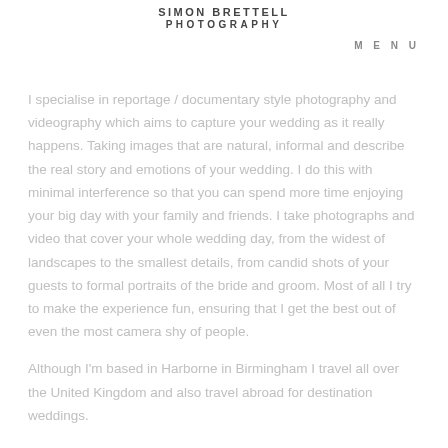SIMON BRETTELL PHOTOGRAPHY
MENU
I specialise in reportage / documentary style photography and videography which aims to capture your wedding as it really happens. Taking images that are natural, informal and describe the real story and emotions of your wedding. I do this with minimal interference so that you can spend more time enjoying your big day with your family and friends. I take photographs and video that cover your whole wedding day, from the widest of landscapes to the smallest details, from candid shots of your guests to formal portraits of the bride and groom. Most of all I try to make the experience fun, ensuring that I get the best out of even the most camera shy of people.
Although I'm based in Harborne in Birmingham I travel all over the United Kingdom and also travel abroad for destination weddings.